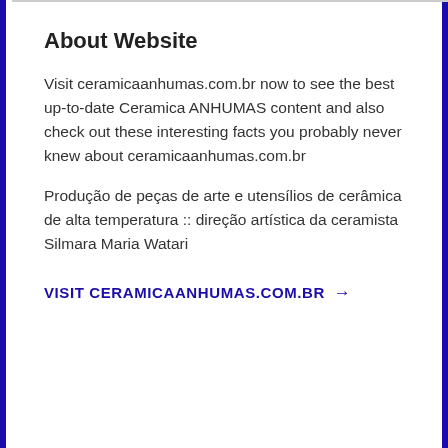About Website
Visit ceramicaanhumas.com.br now to see the best up-to-date Ceramica ANHUMAS content and also check out these interesting facts you probably never knew about ceramicaanhumas.com.br
Produção de peças de arte e utensílios de cerâmica de alta temperatura :: direção artística da ceramista Silmara Maria Watari
VISIT CERAMICAANHUMAS.COM.BR →